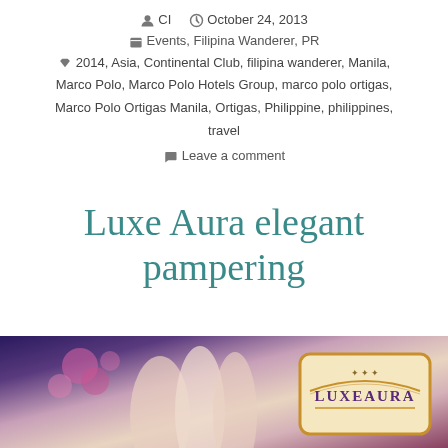CI  October 24, 2013
Events, Filipina Wanderer, PR
2014, Asia, Continental Club, filipina wanderer, Manila, Marco Polo, Marco Polo Hotels Group, marco polo ortigas, Marco Polo Ortigas Manila, Ortigas, Philippine, philippines, travel
Leave a comment
Luxe Aura elegant pampering
[Figure (photo): Photo showing hands with manicure and pink flowers, with LuxeAura logo visible at bottom right]